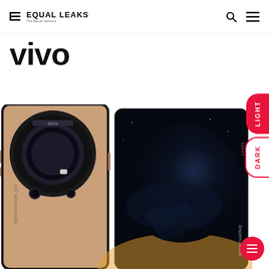EQUAL LEAKS — The Equal Venture
vivo
[Figure (photo): Two vivo smartphones shown side by side — one rose gold colored phone showing the rear camera module (large circular Zeiss lens array), and one phone showing a dark artistic wallpaper with a planet/earth image. Watermark text 'appleconcepts_pro' and '@appleconcepts' visible. Light/Dark mode toggle buttons visible on right edge.]